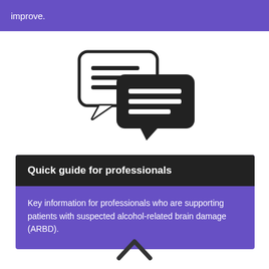improve.
[Figure (illustration): Two speech bubble icons: one outline bubble with horizontal lines (lighter), overlapping with a filled dark bubble with white horizontal lines.]
Quick guide for professionals
Key information for professionals who are supporting patients with suspected alcohol-related brain damage (ARBD).
[Figure (illustration): An upward-pointing chevron/arrow icon at the bottom of the page.]